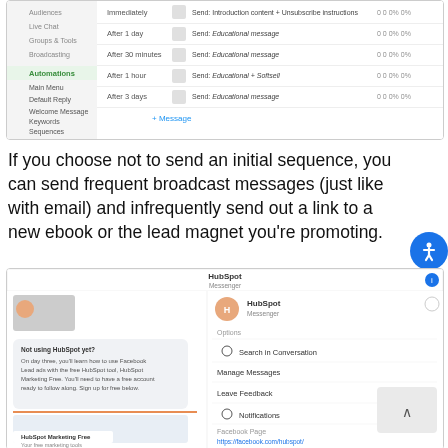[Figure (screenshot): Screenshot of an automation email sequence interface showing rows like Immediately, After 1 day, After 30 minutes, After 1 hour, After 3 days with email send types]
If you choose not to send an initial sequence, you can send frequent broadcast messages (just like with email) and infrequently send out a link to a new ebook or the lead magnet you're promoting.
[Figure (screenshot): Screenshot of HubSpot Messenger interface showing a Facebook Messenger conversation with HubSpot marketing message about HubSpot Marketing Free tool, and an options panel on the right with Search in Conversation, Manage Messages, Leave Feedback, Notifications, Facebook Page options]